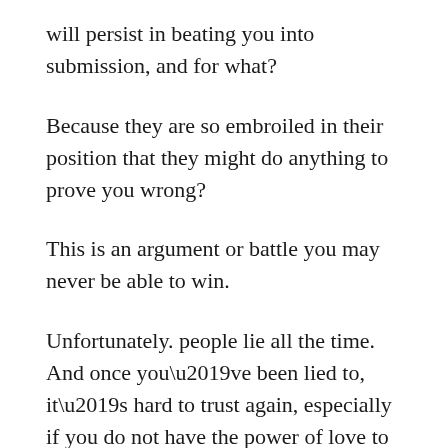will persist in beating you into submission, and for what?
Because they are so embroiled in their position that they might do anything to prove you wrong?
This is an argument or battle you may never be able to win.
Unfortunately. people lie all the time. And once you’ve been lied to, it’s hard to trust again, especially if you do not have the power of love to fall back on, and the realization that everyone is entitled to live their lives in the best way they can with the tools they have